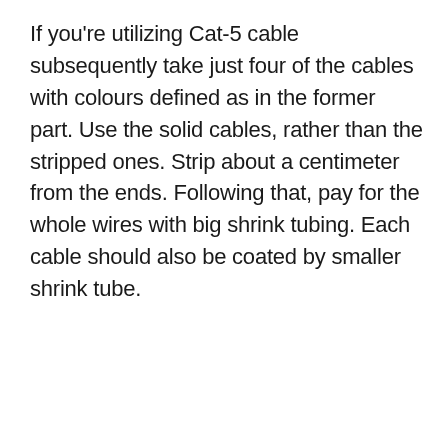If you're utilizing Cat-5 cable subsequently take just four of the cables with colours defined as in the former part. Use the solid cables, rather than the stripped ones. Strip about a centimeter from the ends. Following that, pay for the whole wires with big shrink tubing. Each cable should also be coated by smaller shrink tube.